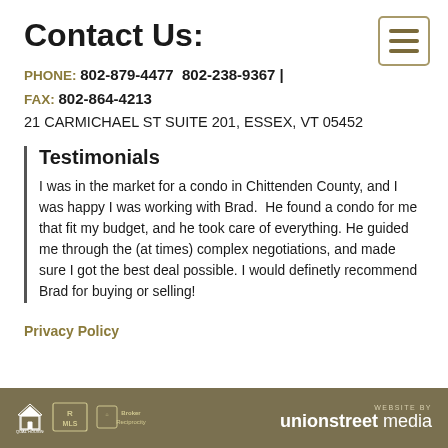Contact Us:
PHONE: 802-879-4477 802-238-9367 | FAX: 802-864-4213
21 CARMICHAEL ST SUITE 201, ESSEX, VT 05452
Testimonials
I was in the market for a condo in Chittenden County, and I was happy I was working with Brad.  He found a condo for me that fit my budget, and he took care of everything. He guided me through the (at times) complex negotiations, and made sure I got the best deal possible. I would definetly recommend Brad for buying or selling!
Privacy Policy
WEBSITE BY unionstreet media